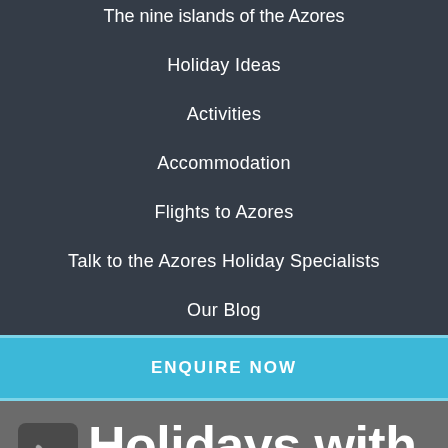The nine islands of the Azores
Holiday Ideas
Activities
Accommodation
Flights to Azores
Talk to the Azores Holiday Specialists
Our Blog
ENQUIRE NOW
Holidays with full